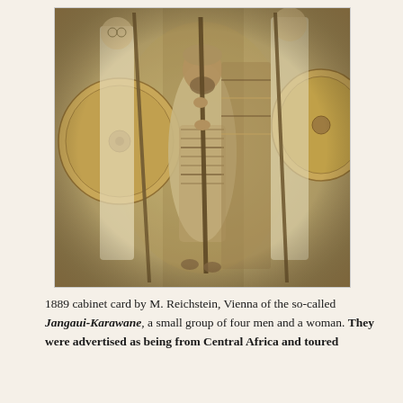[Figure (photo): Sepia-toned 1889 cabinet card photograph showing five people: four men and a woman, described as the Jangaui-Karawane. The central figure is a shorter man with a beard wearing layered robes and holding a tall staff. Flanking figures hold large round shields and spears. Background shows a plain studio or outdoor setting.]
1889 cabinet card by M. Reichstein, Vienna of the so-called Jangaui-Karawane, a small group of four men and a woman. They were advertised as being from Central Africa and toured through Austria this and more.